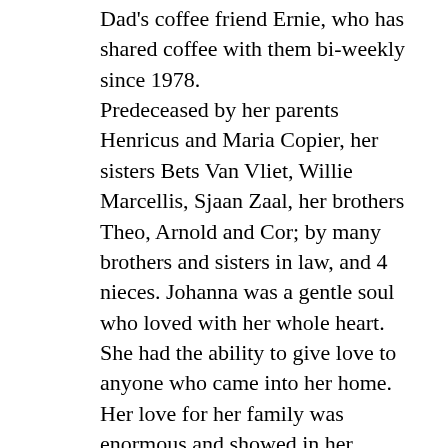Dad's coffee friend Ernie, who has shared coffee with them bi-weekly since 1978. Predeceased by her parents Henricus and Maria Copier, her sisters Bets Van Vliet, Willie Marcellis, Sjaan Zaal, her brothers Theo, Arnold and Cor; by many brothers and sisters in law, and 4 nieces. Johanna was a gentle soul who loved with her whole heart. She had the ability to give love to anyone who came into her home. Her love for her family was enormous and showed in her beautiful smile. Her grandchildren and great grandchildren were her pride and joy, they lit up her life. We have so many beautiful memories to cherish. She was the sweetest lady with a heart of gold.